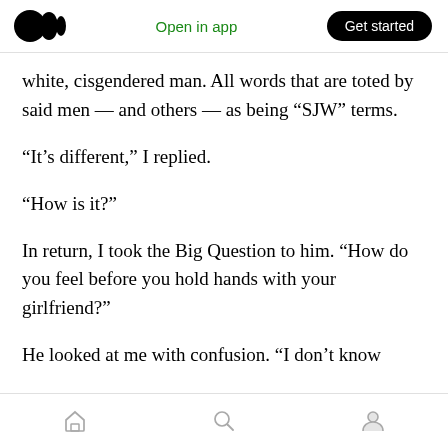Medium logo | Open in app | Get started
white, cisgendered man. All words that are toted by said men — and others — as being “SJW” terms.
“It’s different,” I replied.
“How is it?”
In return, I took the Big Question to him. “How do you feel before you hold hands with your girlfriend?”
He looked at me with confusion. “I don’t know
Home | Search | Profile